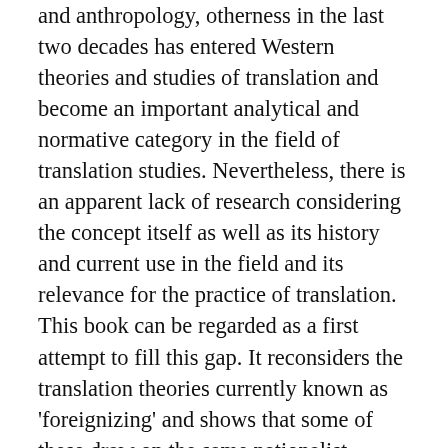and anthropology, otherness in the last two decades has entered Western theories and studies of translation and become an important analytical and normative category in the field of translation studies. Nevertheless, there is an apparent lack of research considering the concept itself as well as its history and current use in the field and its relevance for the practice of translation. This book can be regarded as a first attempt to fill this gap. It reconsiders the translation theories currently known as 'foreignizing' and shows that some of these draw on the same nationalist agenda that they try to transcend. Moreover, the ensuing case study proves that current translation practice is still governed by a nationalist assurance of linguistic and cultural differences. This book therefore concludes by calling for a change of perspective in the theoretical and practical approaches to